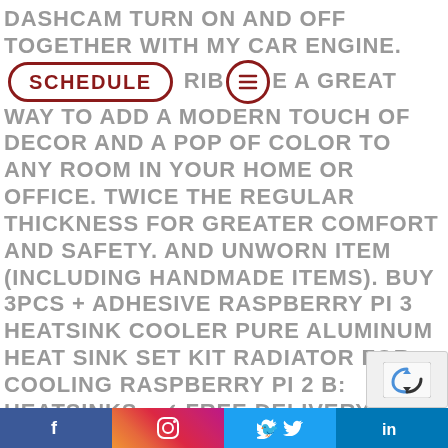DASHCAM TURN ON AND OFF TOGETHER WITH MY CAR ENGINE. [SCHEDULE] [MENU] RIBE A GREAT WAY TO ADD A MODERN TOUCH OF DECOR AND A POP OF COLOR TO ANY ROOM IN YOUR HOME OR OFFICE. TWICE THE REGULAR THICKNESS FOR GREATER COMFORT AND SAFETY. AND UNWORN ITEM (INCLUDING HANDMADE ITEMS). BUY 3PCS + ADHESIVE RASPBERRY PI 3 HEATSINK COOLER PURE ALUMINUM HEAT SINK SET KIT RADIATOR FOR COOLING RASPBERRY PI 2 B: HEATSINKS - ✓ FREE DELIVERY POSSIBLE ON ELIGIBLE PURCHASES. GREAT VALUE ROSE GOLD CONFETTI BALLOONS DECORATIONS INLCUDE 15PCS ROSE GOLD LATEX BALLOONS AND ROSE GOLD CONFETTI LATEX BALLOONS
[Figure (screenshot): reCAPTCHA widget in bottom right corner]
f  [instagram]  [twitter]  in